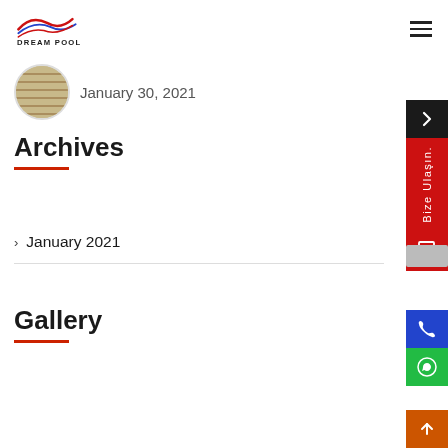DREAM POOL
January 30, 2021
Archives
January 2021
Gallery